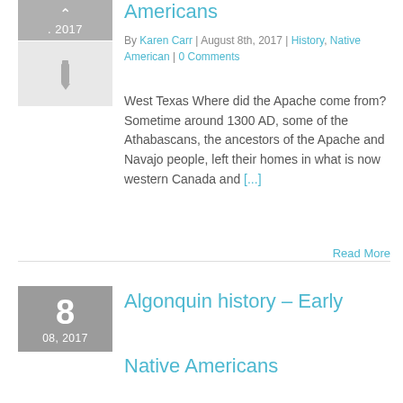[Figure (illustration): Gray date box with up arrow and date '.2017', followed by gray placeholder image with pencil icon]
Americans
By Karen Carr | August 8th, 2017 | History, Native American | 0 Comments
West Texas Where did the Apache come from? Sometime around 1300 AD, some of the Athabascans, the ancestors of the Apache and Navajo people, left their homes in what is now western Canada and [...]
Read More
[Figure (illustration): Gray date box showing 8, 08, 2017]
Algonquin history – Early
Native Americans